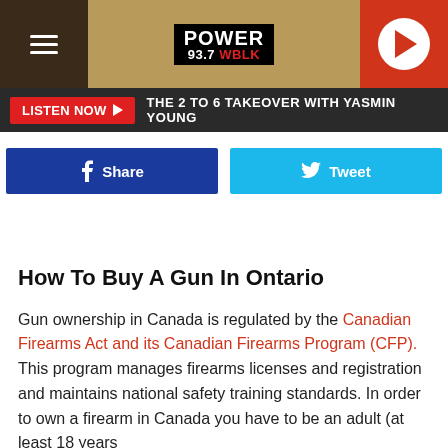POWER 93.7 WBLK
LISTEN NOW ▶  THE 2 TO 6 TAKEOVER WITH YASMIN YOUNG
Share   Tweet
How To Buy A Gun In Ontario
Gun ownership in Canada is regulated by the Canadian Firearms Act and its Canadian Firearms Program (CFP). This program manages firearms licenses and registration and maintains national safety training standards. In order to own a firearm in Canada you have to be an adult (at least 18 years